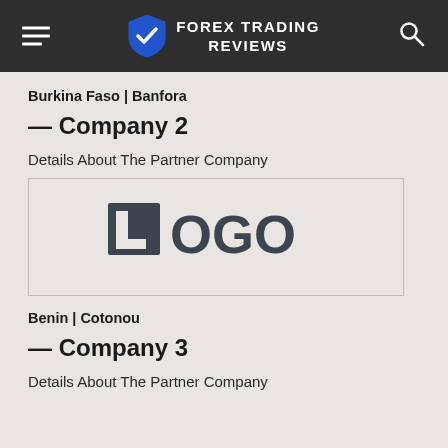FOREX TRADING REVIEWS
Burkina Faso | Banfora
— Company 2
Details About The Partner Company
[Figure (logo): Placeholder logo image showing the text LOGO in dark gray inside a bordered box]
Benin | Cotonou
— Company 3
Details About The Partner Company